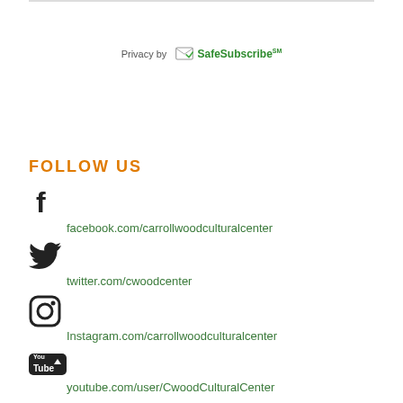[Figure (logo): Privacy by SafeSubscribe(SM) logo with envelope/checkmark icon and green branded text]
FOLLOW US
[Figure (logo): Facebook icon (f logo)]
facebook.com/carrollwoodculturalcenter
[Figure (logo): Twitter bird icon]
twitter.com/cwoodcenter
[Figure (logo): Instagram camera icon]
Instagram.com/carrollwoodculturalcenter
[Figure (logo): YouTube logo icon]
youtube.com/user/CwoodCulturalCenter